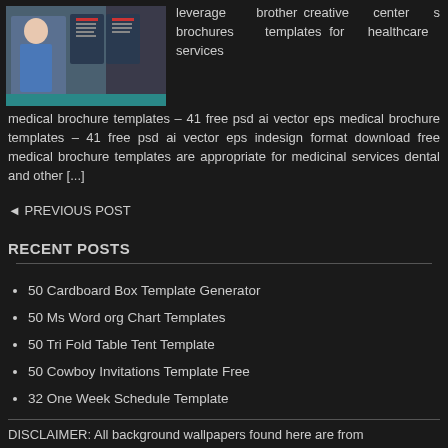[Figure (photo): Thumbnail of a medical brochure template showing a healthcare worker in blue scrubs alongside brochure pages]
leverage brother creative center s brochures templates for healthcare services medical brochure templates – 41 free psd ai vector eps medical brochure templates – 41 free psd ai vector eps indesign format download free medical brochure templates are appropriate for medicinal services dental and other [...]
◄ PREVIOUS POST
RECENT POSTS
50 Cardboard Box Template Generator
50 Ms Word org Chart Templates
50 Tri Fold Table Tent Template
50 Cowboy Invitations Template Free
32 One Week Schedule Template
DISCLAIMER: All background wallpapers found here are from